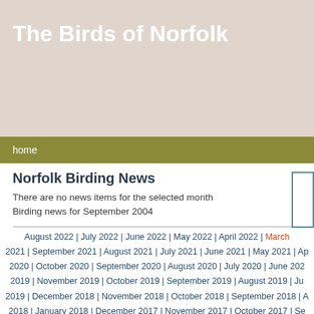The Birds of Norfolk
home
Norfolk Birding News
There are no news items for the selected month
Birding news for September 2004
August 2022 | July 2022 | June 2022 | May 2022 | April 2022 | March 2021 | September 2021 | August 2021 | July 2021 | June 2021 | May 2021 | Ap 2020 | October 2020 | September 2020 | August 2020 | July 2020 | June 202 2019 | November 2019 | October 2019 | September 2019 | August 2019 | Ju 2019 | December 2018 | November 2018 | October 2018 | September 2018 | A 2018 | January 2018 | December 2017 | November 2017 | October 2017 | Se 2017 | February 2017 | January 2017 | December 2016 | November 2016 | Oct